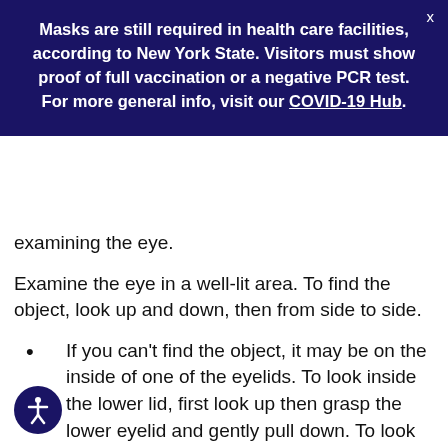Masks are still required in health care facilities, according to New York State. Visitors must show proof of full vaccination or a negative PCR test. For more general info, visit our COVID-19 Hub.
examining the eye.
Examine the eye in a well-lit area. To find the object, look up and down, then from side to side.
If you can't find the object, it may be on the inside of one of the eyelids. To look inside the lower lid, first look up then grasp the lower eyelid and gently pull down. To look inside the upper lid, you can place a cotton-tipped swab on the outside of the upper lid and gently fold the lid over the cotton swab. This is easier to do if you are looking down.
If the object is on an eyelid, try to gently